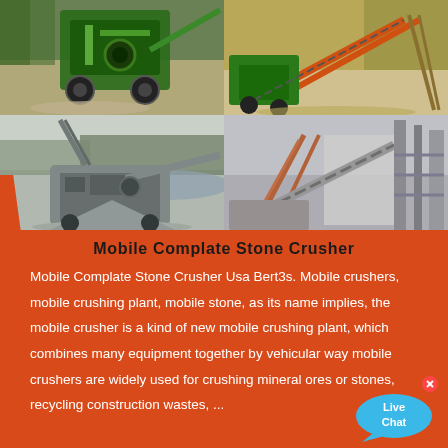[Figure (photo): Four photographs of mobile stone crusher equipment at construction/mining sites arranged in a 2x2 grid. Top-left: green mobile jaw crusher on gravel. Top-right: orange and green conveyor belt crushing system outdoors. Bottom-left: large grey mobile crushing plant near water with forest background. Bottom-right: industrial stone crushing plant with conveyor structures.]
Mobile Complate Stone Crusher
Mobile Complate Stone Crusher Usa Bert3s. Mobile crushers, mobile crushing plant, mobile stone, as its name implies, the mobile crusher is a kind of new mobile crushing plant, which combines many equipment together by vehicular way mobile crushers are widely used for crushing mineral ores or stones, recycling construction wastes, ...